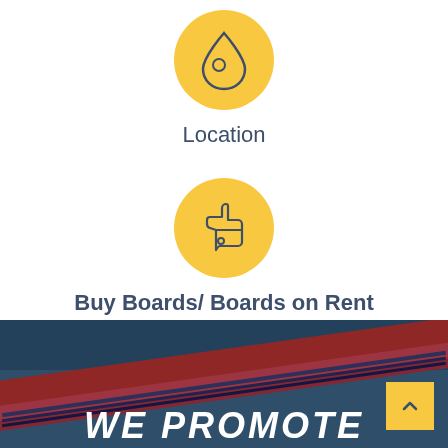[Figure (illustration): Yellow circle icon with a water drop outline symbol]
Location
[Figure (illustration): Yellow circle icon with a thumbs up outline symbol]
Buy Boards/ Boards on Rent
[Figure (photo): Background photo of colorful surfboards from above, with partial text 'We Promote' overlaid in white italic font. A yellow back-to-top button with an upward chevron appears in the bottom right corner.]